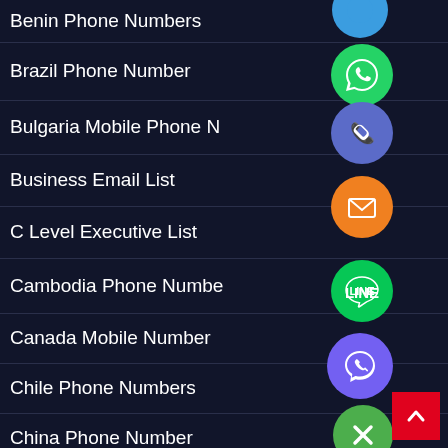Benin Phone Numbers
Brazil Phone Number
Bulgaria Mobile Phone N
Business Email List
C Level Executive List
Cambodia Phone Numbe
Canada Mobile Number
Chile Phone Numbers
China Phone Number
[Figure (infographic): Navigation sidebar with contact list items and social/communication app icons: WhatsApp (green), phone (blue-purple), email (orange), LINE (green), Viber (purple), and a close button (green with X). Red scroll-to-top button in bottom right.]